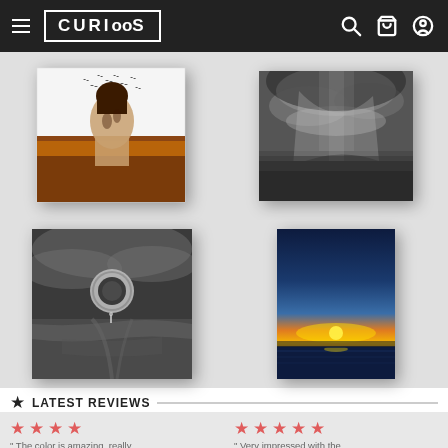CURIOOS navigation bar with hamburger menu, logo, search, cart, and user icons
[Figure (photo): Artwork 1: Double exposure of woman's back with birds and autumn landscape]
[Figure (photo): Artwork 2: Black and white dramatic cloud/sky photograph]
[Figure (photo): Artwork 3: Black and white surreal beach scene with large solar eclipse circle and lone figure]
[Figure (photo): Artwork 4: Sunset over ocean, blue to orange gradient sky with yellow sun]
LATEST REVIEWS
★★★★ "The color is amazing, really
★★★★★ "Very impressed with the